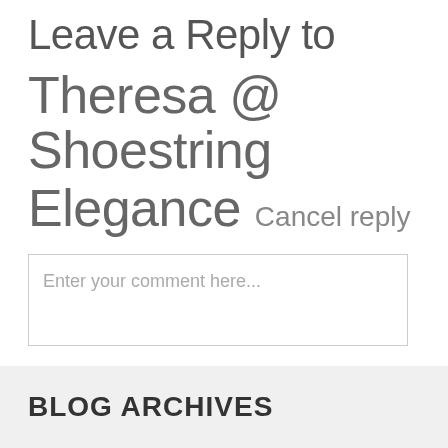Leave a Reply to Theresa @ Shoestring Elegance Cancel reply
Enter your comment here...
BLOG ARCHIVES